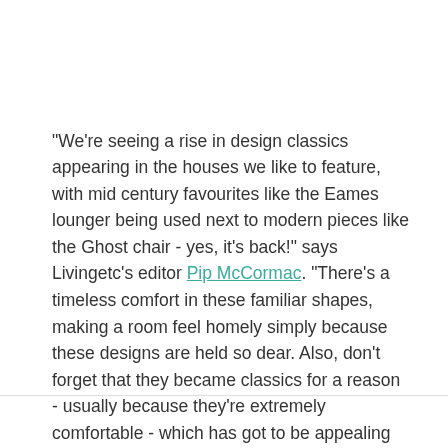"We're seeing a rise in design classics appearing in the houses we like to feature, with mid century favourites like the Eames lounger being used next to modern pieces like the Ghost chair - yes, it's back!" says Livingetc's editor Pip McCormac. "There's a timeless comfort in these familiar shapes, making a room feel homely simply because these designs are held so dear. Also, don't forget that they became classics for a reason - usually because they're extremely comfortable - which has got to be appealing right now."